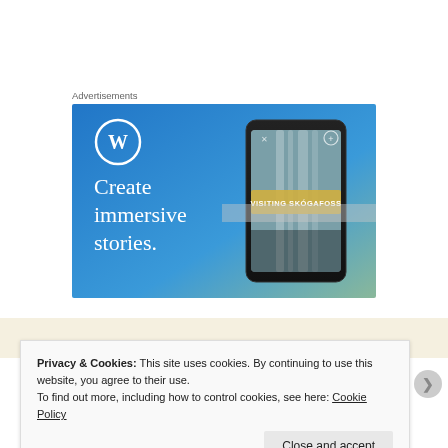Advertisements
[Figure (illustration): WordPress advertisement banner with blue-to-green gradient background, WordPress 'W' logo in white circle, text 'Create immersive stories.' in white on left, and a smartphone showing a waterfall photo with 'VISITING SKÓGAFOSS' overlay on the right.]
Privacy & Cookies: This site uses cookies. By continuing to use this website, you agree to their use.
To find out more, including how to control cookies, see here: Cookie Policy
Close and accept